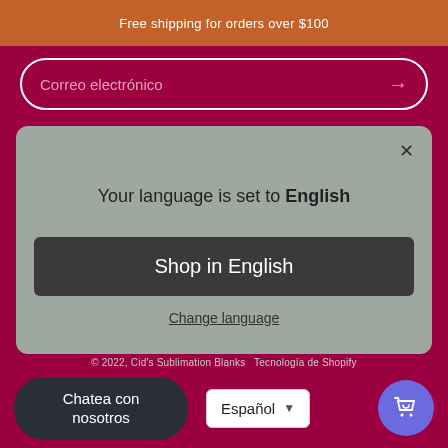Free shipping for orders over $100
Correo electrónico
Your language is set to English
Shop in English
Change language
© 2022, Cid's Sublimation Blanks Tecnología de Shopify
Chatea con nosotros
Español